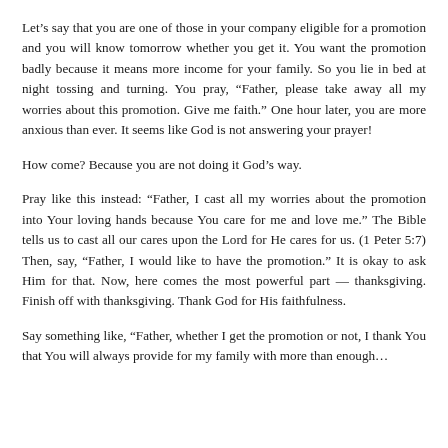Let’s say that you are one of those in your company eligible for a promotion and you will know tomorrow whether you get it. You want the promotion badly because it means more income for your family. So you lie in bed at night tossing and turning. You pray, “Father, please take away all my worries about this promotion. Give me faith.” One hour later, you are more anxious than ever. It seems like God is not answering your prayer!
How come? Because you are not doing it God’s way.
Pray like this instead: “Father, I cast all my worries about the promotion into Your loving hands because You care for me and love me.” The Bible tells us to cast all our cares upon the Lord for He cares for us. (1 Peter 5:7) Then, say, “Father, I would like to have the promotion.” It is okay to ask Him for that. Now, here comes the most powerful part — thanksgiving. Finish off with thanksgiving. Thank God for His faithfulness.
Say something like, “Father, whether I get the promotion or not, I thank You that You will always provide for my family with more than enough...